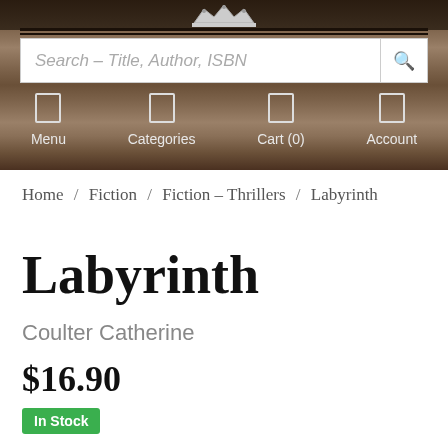Search – Title, Author, ISBN
Menu / Categories / Cart (0) / Account
Home / Fiction / Fiction – Thrillers / Labyrinth
Labyrinth
Coulter Catherine
$16.90
In Stock